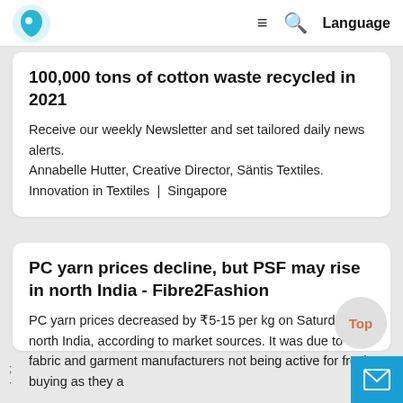Logo | ≡ 🔍 Language
100,000 tons of cotton waste recycled in 2021
Receive our weekly Newsletter and set tailored daily news alerts.
Annabelle Hutter, Creative Director, Säntis Textiles.
Innovation in Textiles  |  Singapore
PC yarn prices decline, but PSF may rise in north India - Fibre2Fashion
PC yarn prices decreased by ₹5-15 per kg on Saturday in north India, according to market sources. It was due to fabric and garment manufacturers not being active for fresh buying as they a